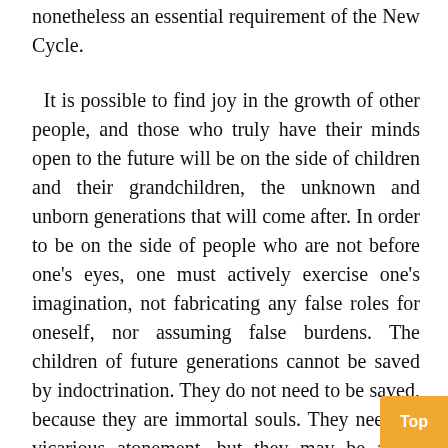nonetheless an essential requirement of the New Cycle.
It is possible to find joy in the growth of other people, and those who truly have their minds open to the future will be on the side of children and their grandchildren, the unknown and unborn generations that will come after. In order to be on the side of people who are not before one's eyes, one must actively exercise one's imagination, not fabricating any false roles for oneself, nor assuming false burdens. The children of future generations cannot be saved by indoctrination. They do not need to be saved, because they are immortal souls. They need no vicarious atonement, but they may be aided under Karma. One can prevent them from being self-destroyed, but that can only be done by the magic of eloquent example. If, despite mistakes, one could show that it is possi- breathe benevolence and incarnate the spir- universal brotherhood, then children, who are